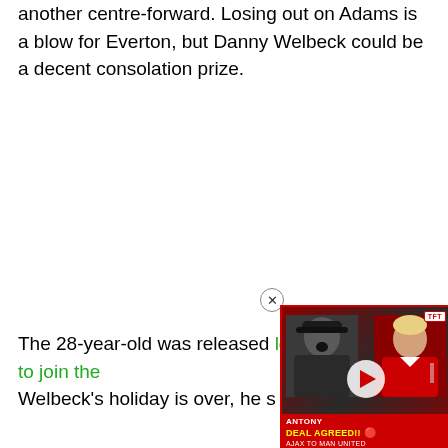another centre-forward. Losing out on Adams is a blow for Everton, but Danny Welbeck could be a decent consolation prize.
The 28-year-old was released [by Brighton] and looked nailed on to join the [club]. Welbeck's holiday is over, he s[hould be signing soon].
[Figure (screenshot): Video overlay thumbnail showing two men (one in dark cap, one blonde in red Man United shirt) with TFT badge, and text 'ANTONY' / 'DEAL AGREED!!' / 'AJAX TO MAN UNITED' on a red bar. A close button (X in circle) is shown top-left of the overlay.]